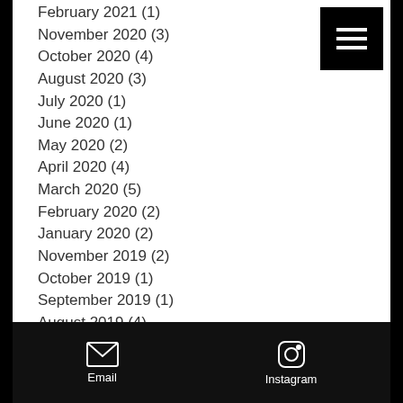February 2021 (1)
November 2020 (3)
October 2020 (4)
August 2020 (3)
July 2020 (1)
June 2020 (1)
May 2020 (2)
April 2020 (4)
March 2020 (5)
February 2020 (2)
January 2020 (2)
November 2019 (2)
October 2019 (1)
September 2019 (1)
August 2019 (4)
July 2019 (5)
June 2019 (10)
May 2019 (3)
April 2019 (6)
March 2019 (11)
February 2019 (22)
Email   Instagram